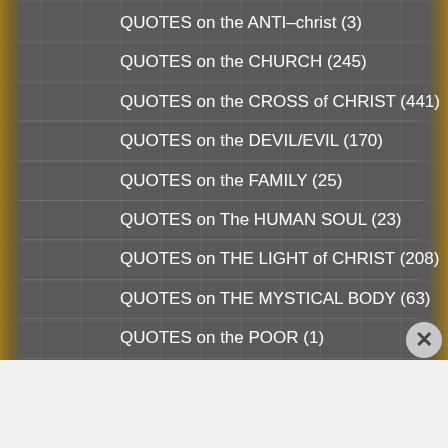QUOTES on the ANTI-christ (3)
QUOTES on the CHURCH (245)
QUOTES on the CROSS of CHRIST (441)
QUOTES on the DEVIL/EVIL (170)
QUOTES on the FAMILY (25)
QUOTES on The HUMAN SOUL (23)
QUOTES on THE LIGHT of CHRIST (208)
QUOTES on THE MYSTICAL BODY (63)
QUOTES on the POOR (1)
QUOTES on the POPE (1)
QUOTES on the PRIESTHOOD (22)
Advertisements
[Figure (screenshot): Seamless food delivery advertisement banner with pizza image, Seamless logo in red, and ORDER NOW button]